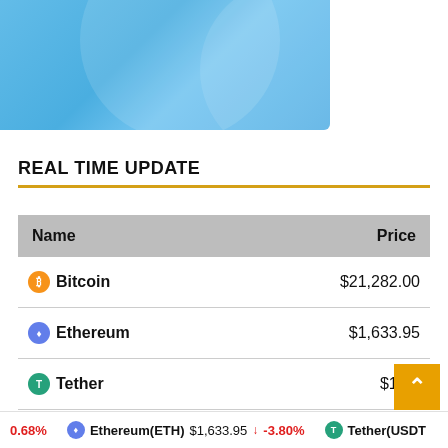[Figure (illustration): Light blue banner with abstract circular shapes/overlay, decorative header image for cryptocurrency website]
REAL TIME UPDATE
| Name | Price |
| --- | --- |
| Bitcoin | $21,282.00 |
| Ethereum | $1,633.95 |
| Tether | $1.00 |
| XRP | $0.342292 |
0.68%  Ethereum(ETH) $1,633.95 ↓ -3.80%  Tether(USDT